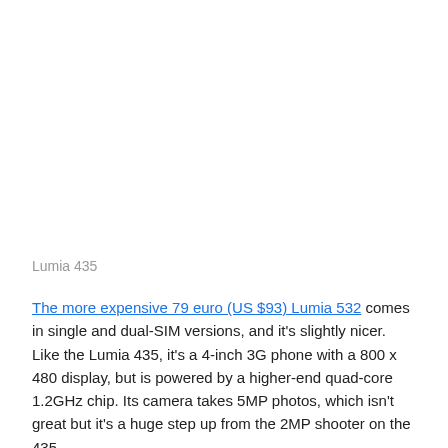Lumia 435
The more expensive 79 euro (US $93) Lumia 532 comes in single and dual-SIM versions, and it's slightly nicer. Like the Lumia 435, it's a 4-inch 3G phone with a 800 x 480 display, but is powered by a higher-end quad-core 1.2GHz chip. Its camera takes 5MP photos, which isn't great but it's a huge step up from the 2MP shooter on the 435.